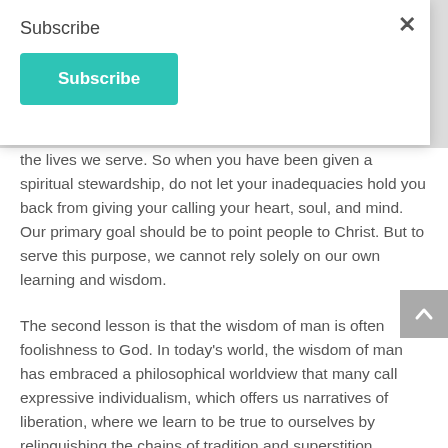Subscribe
Subscribe (button)
the lives we serve. So when you have been given a spiritual stewardship, do not let your inadequacies hold you back from giving your calling your heart, soul, and mind. Our primary goal should be to point people to Christ. But to serve this purpose, we cannot rely solely on our own learning and wisdom.
The second lesson is that the wisdom of man is often foolishness to God. In today's world, the wisdom of man has embraced a philosophical worldview that many call expressive individualism, which offers us narratives of liberation, where we learn to be true to ourselves by relinquishing the chains of tradition and superstition through self-affirmation and self-